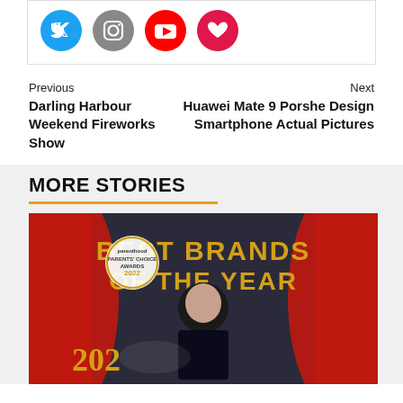[Figure (other): Social media icons: Twitter (blue), Instagram (gray/purple), YouTube (red), heart/Klout (red)]
Previous
Darling Harbour Weekend Fireworks Show
Next
Huawei Mate 9 Porshe Design Smartphone Actual Pictures
MORE STORIES
[Figure (photo): Photo of a man in black t-shirt standing in front of a 'Best Brands of the Year' backdrop with 'Parents Choice Awards 2022' logo and gold '202' trophy/decorations]